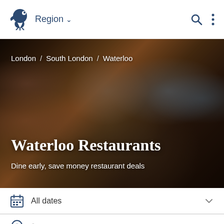Region ▾
[Figure (screenshot): Hero image of people dining at a restaurant with overlay text showing breadcrumb navigation: London / South London / Waterloo, heading 'Waterloo Restaurants', and subheading 'Dine early, save money restaurant deals']
London / South London / Waterloo
Waterloo Restaurants
Dine early, save money restaurant deals
All dates
> Waterloo